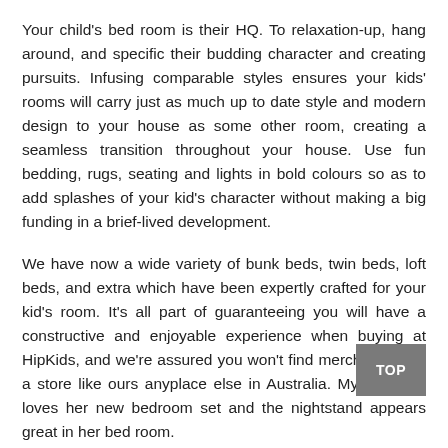Your child's bed room is their HQ. To relaxation-up, hang around, and specific their budding character and creating pursuits. Infusing comparable styles ensures your kids' rooms will carry just as much up to date style and modern design to your house as some other room, creating a seamless transition throughout your house. Use fun bedding, rugs, seating and lights in bold colours so as to add splashes of your kid's character without making a big funding in a brief-lived development.
We have now a wide variety of bunk beds, twin beds, loft beds, and extra which have been expertly crafted for your kid's room. It's all part of guaranteeing you will have a constructive and enjoyable experience when buying at HipKids, and we're assured you won't find merchandise or a store like ours anyplace else in Australia. My daughter loves her new bedroom set and the nightstand appears great in her bed room.
Wall cabinets from the French youngsters's line Rose in April would add a pop to any room, they usually are available in a wide range of